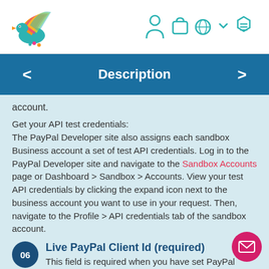[Figure (logo): Colorful bird logo (teal/orange/pink/yellow wings)]
[Figure (infographic): Navigation icons: person, bag, globe, chevron, hexagon menu]
Description
account.
Get your API test credentials:
The PayPal Developer site also assigns each sandbox Business account a set of test API credentials. Log in to the PayPal Developer site and navigate to the Sandbox Accounts page or Dashboard > Sandbox > Accounts. View your test API credentials by clicking the expand icon next to the business account you want to use in your request. Then, navigate to the Profile > API credentials tab of the sandbox account.
06 Live PayPal Client Id (required)
This field is required when you have set PayPal